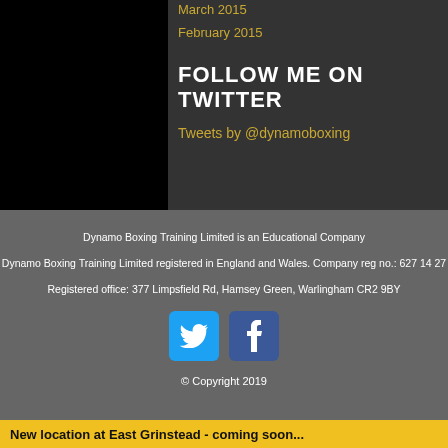March 2015
February 2015
FOLLOW ME ON TWITTER
Tweets by @dynamoboxing
Dynamo Boxing Training Limited is an Educational Company
Dynamo Boxing Training Limited registered in England and Wales. Company reg no.: 627 14 27
Registered office: 377 Limpsfield Rd, Hamsey Green, Warlingham CR2 9BY
[Figure (logo): Twitter and Facebook social media icons]
© Copyright 2019
New location at East Grinstead - coming soon...